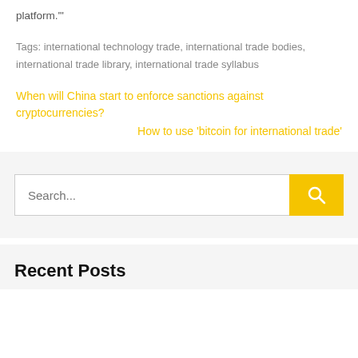platform.'"
Tags: international technology trade, international trade bodies, international trade library, international trade syllabus
When will China start to enforce sanctions against cryptocurrencies?
How to use 'bitcoin for international trade'
[Figure (screenshot): Search bar with text input field and yellow search button with magnifying glass icon]
Recent Posts